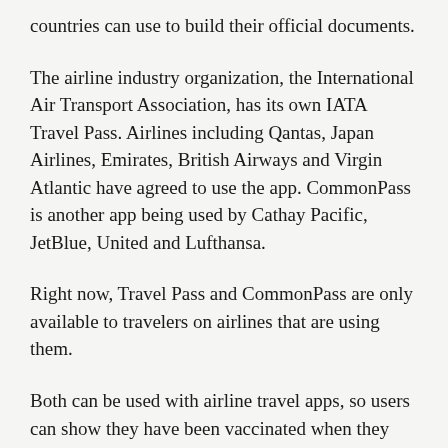countries can use to build their official documents.
The airline industry organization, the International Air Transport Association, has its own IATA Travel Pass. Airlines including Qantas, Japan Airlines, Emirates, British Airways and Virgin Atlantic have agreed to use the app. CommonPass is another app being used by Cathay Pacific, JetBlue, United and Lufthansa.
Right now, Travel Pass and CommonPass are only available to travelers on airlines that are using them.
Both can be used with airline travel apps, so users can show they have been vaccinated when they check in online. Both also plan to be used with EU vaccine documents. CommonPass says users will be able to put in their vaccine information by mid-June.